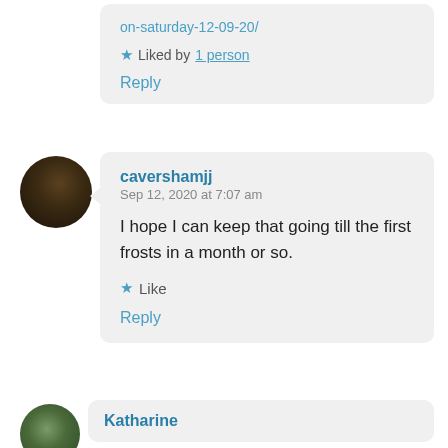on-saturday-12-09-20/
★ Liked by 1 person
Reply
cavershamjj
Sep 12, 2020 at 7:07 am

I hope I can keep that going till the first frosts in a month or so.

★ Like

Reply
Katharine